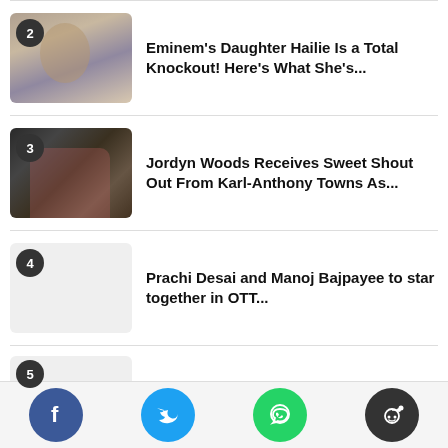2 — Eminem's Daughter Hailie Is a Total Knockout! Here's What She's...
3 — Jordyn Woods Receives Sweet Shout Out From Karl-Anthony Towns As...
4 — Prachi Desai and Manoj Bajpayee to star together in OTT...
5 — (partially visible)